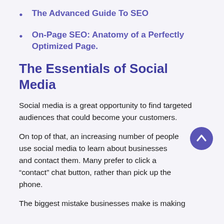The Advanced Guide To SEO
On-Page SEO: Anatomy of a Perfectly Optimized Page.
The Essentials of Social Media
Social media is a great opportunity to find targeted audiences that could become your customers.
On top of that, an increasing number of people use social media to learn about businesses and contact them. Many prefer to click a “contact” chat button, rather than pick up the phone.
The biggest mistake businesses make is making